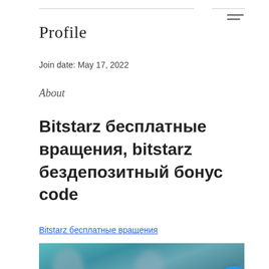Profile
Join date: May 17, 2022
About
Bitstarz бесплатные вращения, bitstarz бездепозитный бонус code
Bitstarz бесплатные вращения
[Figure (photo): Blurred photo with people, partially visible at bottom of page, with a blue circular button with three dots overlay]